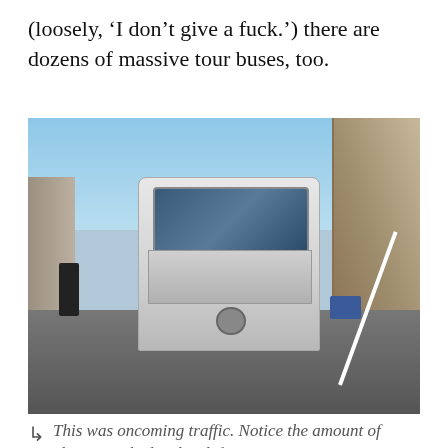(loosely, ‘I don’t give a fuck.’) there are dozens of massive tour buses, too.
[Figure (photo): A large white Mercedes tour bus driving on a narrow road, taking up most of the lane, with a rocky cliff on the right, a stone wall on the left, and a pedestrian standing to the left side. A small blue car is visible on the right behind the bus. The road curves and has a white line on the right edge.]
This was oncoming traffic. Notice the amount of clearance the bus has left us